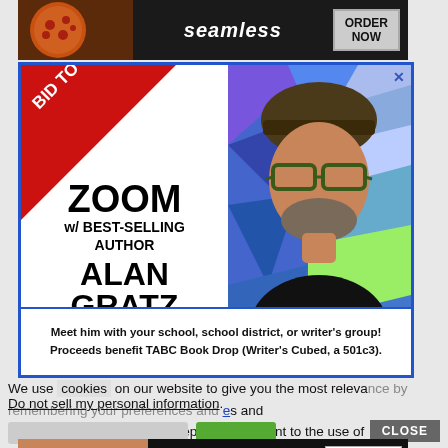[Figure (photo): Seamless food delivery advertisement banner at top with pizza image, seamless logo, and ORDER NOW button]
[Figure (illustration): Modal advertisement for Zoom with best-selling author Alan Gratz. Red 'BID TO WIN!' ribbon in top-left corner. Left side shows ZOOM w/ BEST-SELLING AUTHOR ALAN GRATZ text. Right side shows photo of bearded man with hat and glasses against colorful geometric background. Bottom text: Meet him with your school, school district, or writer's group! Proceeds benefit TABC Book Drop (Writer's Cubed, a 501c3).]
We use cookies on our website to give you the most relevant experience by remembering your preferences and repeat visits. By clicking “Accept”, you consent to the use of ALL the cookies.
Do not sell my personal information.
[Figure (photo): Macy's advertisement at bottom: KISS BORING LIPS GOODBYE with SHOP NOW button and Macy's star logo]